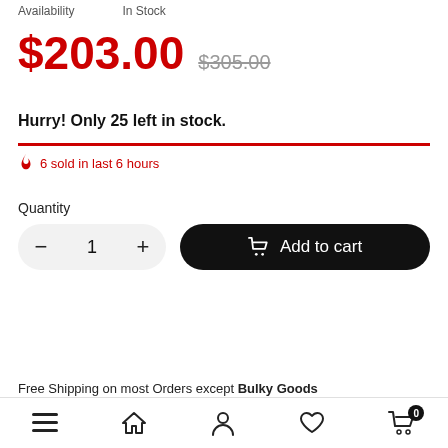Availability    In Stock
$203.00  $305.00
Hurry! Only 25 left in stock.
6 sold in last 6 hours
Quantity
1
Add to cart
Free Shipping on most Orders except Bulky Goods